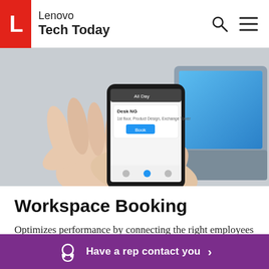Lenovo Tech Today
[Figure (photo): Hands holding a Motorola smartphone displaying a workspace booking app interface (desk booking screen with 'Book' button), with a laptop keyboard visible in the background.]
Workspace Booking
Optimizes performance by connecting the right employees with the right spaces
Schedule any space with a simple Workspace Scheduling Software
Have a rep contact you >